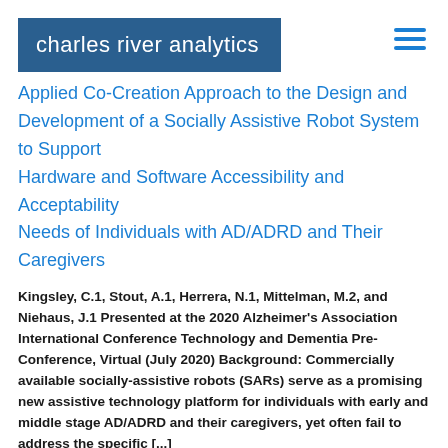charles river analytics
Applied Co-Creation Approach to the Design and Development of a Socially Assistive Robot System to Support Hardware and Software Accessibility and Acceptability Needs of Individuals with AD/ADRD and Their Caregivers
Kingsley, C.1, Stout, A.1, Herrera, N.1, Mittelman, M.2, and Niehaus, J.1 Presented at the 2020 Alzheimer's Association International Conference Technology and Dementia Pre-Conference, Virtual (July 2020) Background: Commercially available socially-assistive robots (SARs) serve as a promising new assistive technology platform for individuals with early and middle stage AD/ADRD and their caregivers, yet often fail to address the specific [...]